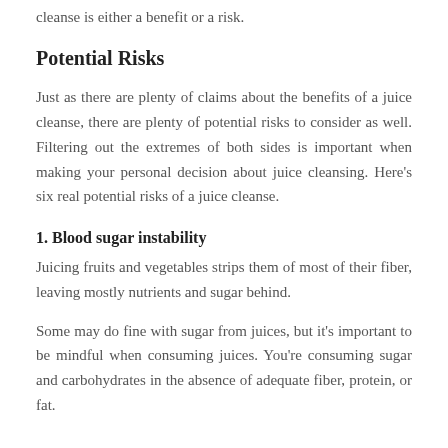cleanse is either a benefit or a risk.
Potential Risks
Just as there are plenty of claims about the benefits of a juice cleanse, there are plenty of potential risks to consider as well. Filtering out the extremes of both sides is important when making your personal decision about juice cleansing. Here's six real potential risks of a juice cleanse.
1. Blood sugar instability
Juicing fruits and vegetables strips them of most of their fiber, leaving mostly nutrients and sugar behind.
Some may do fine with sugar from juices, but it's important to be mindful when consuming juices. You're consuming sugar and carbohydrates in the absence of adequate fiber, protein, or fat.